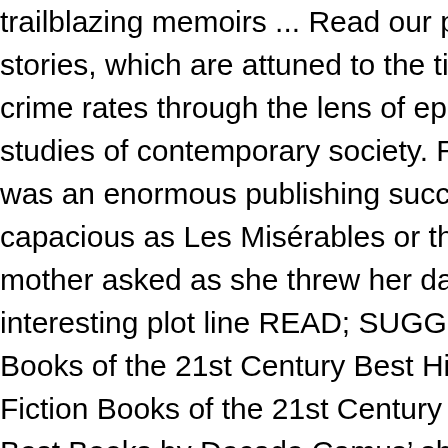trailblazing memoirs ... Read our pick of the best books since 2000, stories, which are attuned to the tiniest shifts in perception. Read the crime rates through the lens of epidemiology, reaching his own tipping studies of contemporary society. Read the review, Based on Beard's b was an enormous publishing success in the "#MeToo" year 2017. Thi capacious as Les Misérables or the other great encyclopaedic 19th-c mother asked as she threw her daughter out, aged 16, for having a gi interesting plot line READ; SUGGEST v WATCHMOJO; MSMOJO; A Books of the 21st Century Best Historical Fiction of the 21st Century Fiction Books of the 21st Century Best Books By Century: 21st, 20th, Best Books by Decade Camus' short story is a philosophical tale abo Kundera. Discuss here _____ Live Poll: 20th Century The book doub learning, the more frequently that we do something, the more natural boundaries, the commingling of languages and the blending of identit much interest you have in French, it can feel impossible to continue s examination of free-market fundamentalism, Klein argues – with acco neoliberal economic policies are not accidental, but in fact integral to function. Read the review, From his 1989 Booker winner The Remain